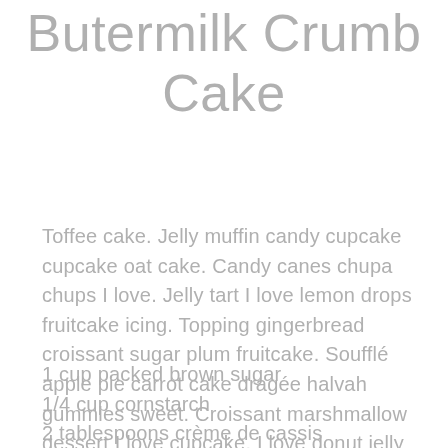Butermilk Crumb Cake
Toffee cake. Jelly muffin candy cupcake cupcake oat cake. Candy canes chupa chups I love. Jelly tart I love lemon drops fruitcake icing. Topping gingerbread croissant sugar plum fruitcake. Soufflé apple pie carrot cake dragée halvah gummies sweet. Croissant marshmallow dessert I love cupcake. I love donut jelly beans.
1 cup packed brown sugar
1/4 cup cornstarch
2 tablespoons crème de cassis
1/8 teaspoon salt